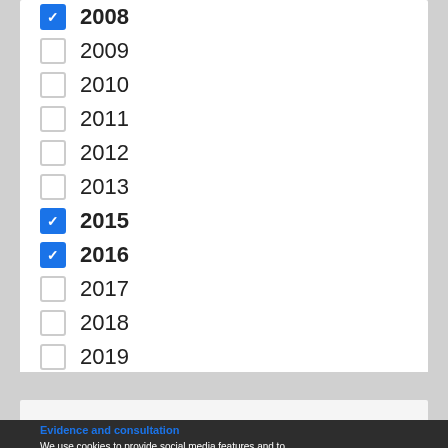☑ 2008
☐ 2009
☐ 2010
☐ 2011
☐ 2012
☐ 2013
☑ 2015
☑ 2016
☐ 2017
☐ 2018
☐ 2019
☐ 2020
☐ 2021
☐ 2022
Evidence and consultation
We use cookies to provide social media features and to